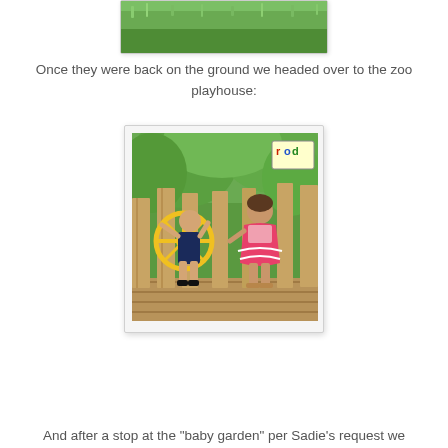[Figure (photo): Top portion of a photo showing green grass and bushes/trees at a zoo outdoor area]
Once they were back on the ground we headed over to the zoo playhouse:
[Figure (photo): Two young children at the zoo playhouse. A toddler in a navy romper holds a yellow ship wheel, and a girl in a pink ruffly dress stands nearby. They are on a wooden deck with fence slats and green trees in background. A colorful sign reading 'rod' or similar is visible in upper right.]
And after a stop at the "baby garden" per Sadie's request we